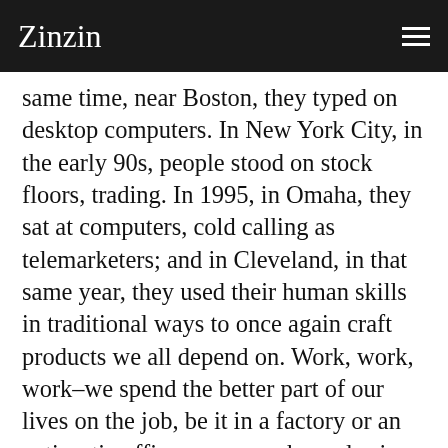Zinzin
same time, near Boston, they typed on desktop computers. In New York City, in the early 90s, people stood on stock floors, trading. In 1995, in Omaha, they sat at computers, cold calling as telemarketers; and in Cleveland, in that same year, they used their human skills in traditional ways to once again craft products we all depend on. Work, work, work–we spend the better part of our lives on the job, be it in a factory or an antiseptic office, or somewhere else in the vast assembly line in between. Tireless photographer Lee Friedlander, the maniacally inclusive but blessedly nonchalant cataloguer of Americana–her monuments, jazz musicians, and urban landscapes–here presents 16 years of Americans at work. A collection of commissioned portfolios, some made at the request of art institutions, others at the behest of company CEOs, Lee Friedlander At Work also documents, albeit